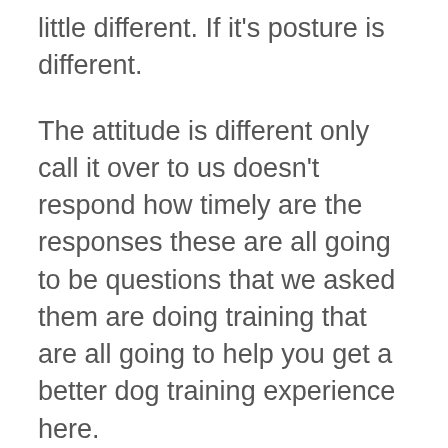little different. If it's posture is different.
The attitude is different only call it over to us doesn't respond how timely are the responses these are all going to be questions that we asked them are doing training that are all going to help you get a better dog training experience here.
Dog training Southlake is our main focus we've been doing it for long enough now that the experience we have gained the past few years is really allowed us to eliminate any kind of aggression within a dog within the first week. The punishment for dogs is not going to be the focus here